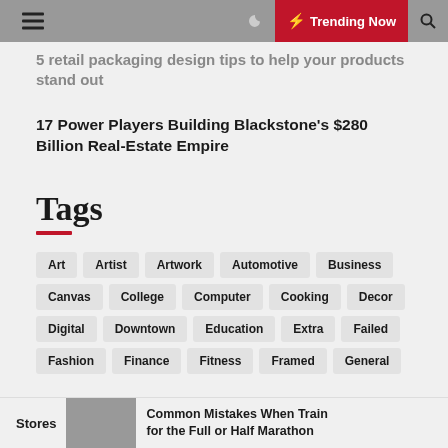Trending Now
5 retail packaging design tips to help your products stand out
17 Power Players Building Blackstone's $280 Billion Real-Estate Empire
Tags
Art
Artist
Artwork
Automotive
Business
Canvas
College
Computer
Cooking
Decor
Digital
Downtown
Education
Extra
Failed
Fashion
Finance
Fitness
Framed
General
Stores   Common Mistakes When Training for the Full or Half Marathon